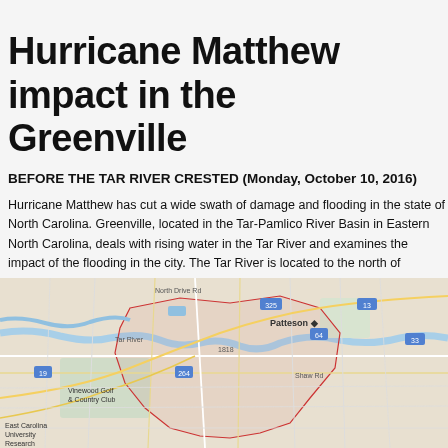Hurricane Matthew impact in the Greenville
BEFORE THE TAR RIVER CRESTED (Monday, October 10, 2016)
Hurricane Matthew has cut a wide swath of damage and flooding in the state of North Carolina. Greenville, located in the Tar-Pamlico River Basin in Eastern North Carolina, deals with rising water in the Tar River and examines the impact of the flooding in the city. The Tar River is located to the north of Greenville flows between a lower elevation north side and higher elevation south side. Most of the flooding impacts are to the areas directly adjacent to the Tar River and to the floodplain areas in the north. The first set of images below were taken on Monday, October 10, between 10:00am-11:30am, BEFORE the water in the Tar River had crested. According to the National Weather Service, it was projected to crest at 26.1 feet, which was later revised to 24.5 feet.
[Figure (map): Road map of Greenville, NC area showing streets, highways, rivers, and city boundaries outlined in red. Includes landmarks such as Patteson, East Carolina University, Vinewood Golf & Country Club, and various highway route numbers.]